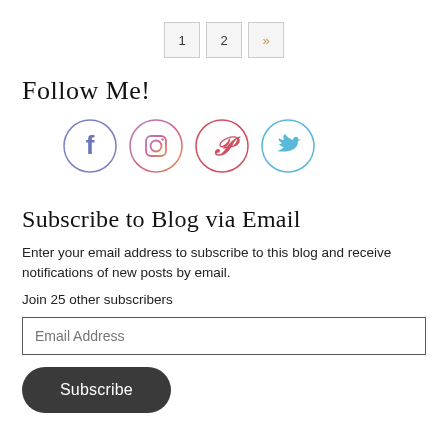1  2  »
Follow Me!
[Figure (illustration): Four social media icons in circles: Facebook (blue/purple circle), Instagram (pink/purple gradient circle), Pinterest (red circle), Twitter (light blue circle)]
Subscribe to Blog via Email
Enter your email address to subscribe to this blog and receive notifications of new posts by email.
Join 25 other subscribers
Email Address
Subscribe